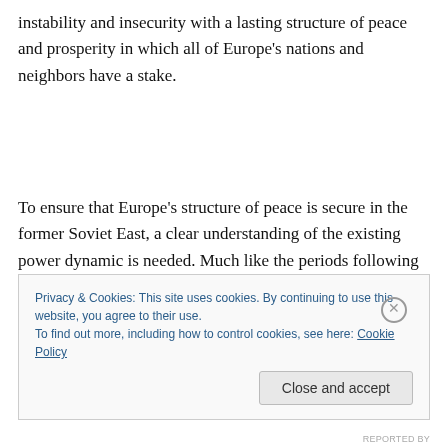instability and insecurity with a lasting structure of peace and prosperity in which all of Europe's nations and neighbors have a stake.
To ensure that Europe's structure of peace is secure in the former Soviet East, a clear understanding of the existing power dynamic is needed. Much like the periods following the treaties of Westphalia and Versailles, the aftermath of
Privacy & Cookies: This site uses cookies. By continuing to use this website, you agree to their use.
To find out more, including how to control cookies, see here: Cookie Policy
Close and accept
REPORTED BY